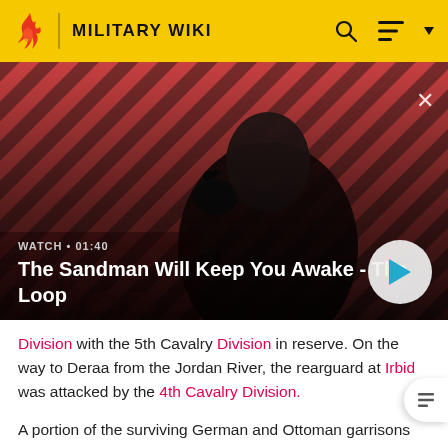MILITARY WIKI
[Figure (screenshot): Video banner showing a dark-cloaked figure with a raven on their shoulder against a red and black diagonal striped background. Overlay text reads: WATCH • 01:40 / The Sandman Will Keep You Awake - The Loop]
WATCH • 01:40
The Sandman Will Keep You Awake - The Loop
Division with the 5th Cavalry Division in reserve. On the way to Deraa from the Jordan River, the rearguard at Irbid was attacked by the 4th Cavalry Division.
A portion of the surviving German and Ottoman garrisons from Samakh and Tiberias, (formed from remnants of the